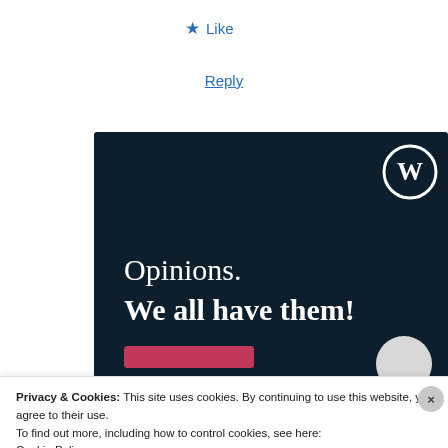★ Like
Reply
[Figure (illustration): WordPress promotional banner on dark navy background. Shows WordPress logo (circle W) in top right. Text reads 'Opinions. We all have them!' in white serif font. Pink button at bottom left, grey circle at bottom right.]
Privacy & Cookies: This site uses cookies. By continuing to use this website, you agree to their use.
To find out more, including how to control cookies, see here:
Cookie Policy
Close and accept